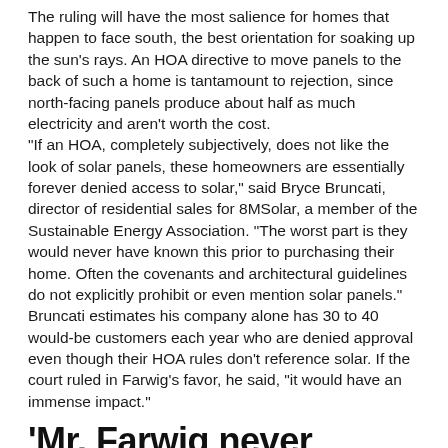The ruling will have the most salience for homes that happen to face south, the best orientation for soaking up the sun's rays. An HOA directive to move panels to the back of such a home is tantamount to rejection, since north-facing panels produce about half as much electricity and aren't worth the cost. "If an HOA, completely subjectively, does not like the look of solar panels, these homeowners are essentially forever denied access to solar," said Bryce Bruncati, director of residential sales for 8MSolar, a member of the Sustainable Energy Association. "The worst part is they would never have known this prior to purchasing their home. Often the covenants and architectural guidelines do not explicitly prohibit or even mention solar panels." Bruncati estimates his company alone has 30 to 40 would-be customers each year who are denied approval even though their HOA rules don't reference solar. If the court ruled in Farwig's favor, he said, "it would have an immense impact."
'Mr. Farwig never would have sued'
While conflicted on some points, a model law will make it easier